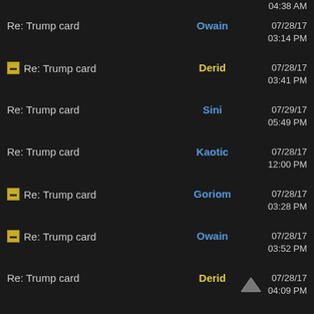Re: Trump card — 04:38 AM (partial top)
Re: Trump card — Owain — 07/28/17 03:14 PM
Re: Trump card — Derid — 07/28/17 03:41 PM
Re: Trump card — Sini — 07/29/17 05:49 PM
Re: Trump card — Kaotic — 07/28/17 12:00 PM
Re: Trump card — Goriom — 07/28/17 03:28 PM
Re: Trump card — Owain — 07/28/17 03:52 PM
Re: Trump card — Derid — 07/28/17 04:09 PM